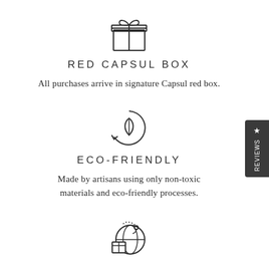[Figure (illustration): Gift box icon — line art of a wrapped present with ribbon and bow]
RED CAPSUL BOX
All purchases arrive in signature Capsul red box.
[Figure (illustration): Eco-friendly icon — line art of a leaf inside a circular recycling arrow]
ECO-FRIENDLY
Made by artisans using only non-toxic materials and eco-friendly processes.
[Figure (illustration): Globe with shipping box icon — line art of a world globe with a location pin and a package at the bottom]